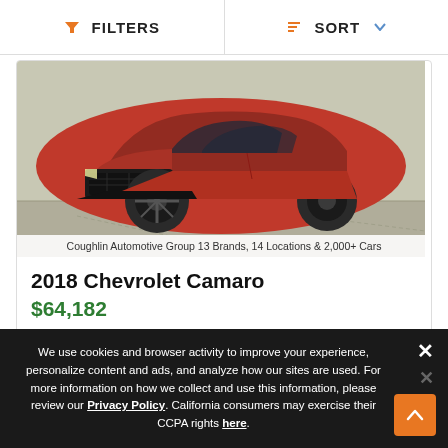FILTERS   SORT
[Figure (photo): Red Chevrolet Camaro ZL1 front view, parked on concrete surface. Text overlay: Coughlin Automotive Group 13 Brands, 14 Locations & 2,000+ Cars]
2018 Chevrolet Camaro
$64,182
|  |  |
| --- | --- |
| Color | Red Hot |
| Engine | 6.2L V8 Supercharged |
| Miles | 21,366 |
We use cookies and browser activity to improve your experience, personalize content and ads, and analyze how our sites are used. For more information on how we collect and use this information, please review our Privacy Policy. California consumers may exercise their CCPA rights here.